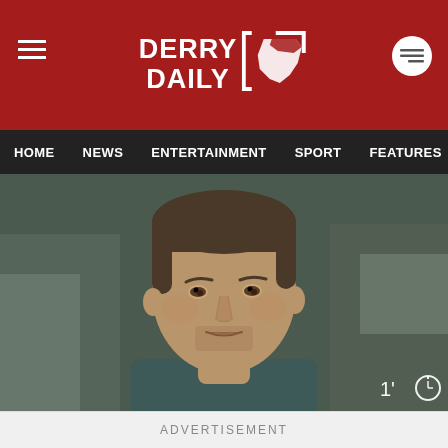DERRY DAILY
HOME  NEWS  ENTERTAINMENT  SPORT  FEATURES  CO
[Figure (photo): Close-up photo of a man with short brown hair wearing a dark teal t-shirt, looking slightly to the left. Background is blurred, showing outdoor/urban setting. Video duration overlay shows 1' with a clock icon.]
SDLP Foyle MLA Ma\rk H Durkan
ADVERTISEMENT